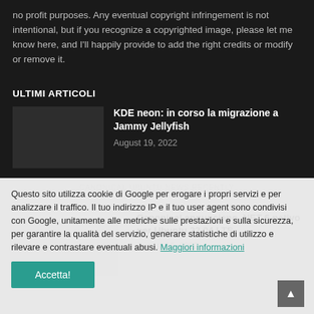no profit purposes. Any eventual copyright infringement is not intentional, but if you recognize a copyrighted image, please let me know here, and I'll happily provide to add the right credits or modify or remove it.
ULTIMI ARTICOLI
[Figure (photo): Dark gray thumbnail image for article]
KDE neon: in corso la migrazione a Jammy Jellyfish
August 19, 2022
Questo sito utilizza cookie di Google per erogare i propri servizi e per analizzare il traffico. Il tuo indirizzo IP e il tuo user agent sono condivisi con Google, unitamente alle metriche sulle prestazioni e sulla sicurezza, per garantire la qualità del servizio, generare statistiche di utilizzo e rilevare e contrastare eventuali abusi. Maggiori informazioni
Accetta!
Canonical annunciano .NET 6 nativo per Ubuntu 22.04 LTS
August 16, 2022